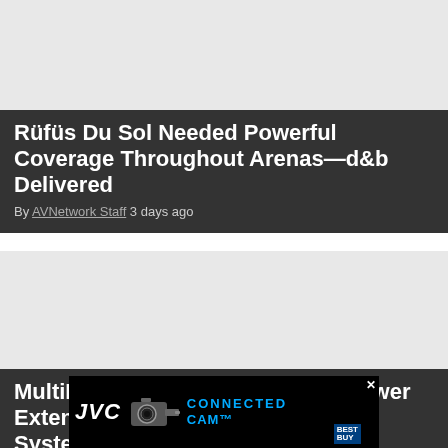[Figure (photo): Gray placeholder image for first article card]
Rüfüs Du Sol Needed Powerful Coverage Throughout Arenas—d&b Delivered
By AVNetwork Staff 3 days ago
[Figure (photo): Gray placeholder image for second article card]
MultiDyne Launches Advanced Power Extension Line for Fiber Camera Systems
[Figure (photo): JVC Connected Cam advertisement banner at bottom of page]